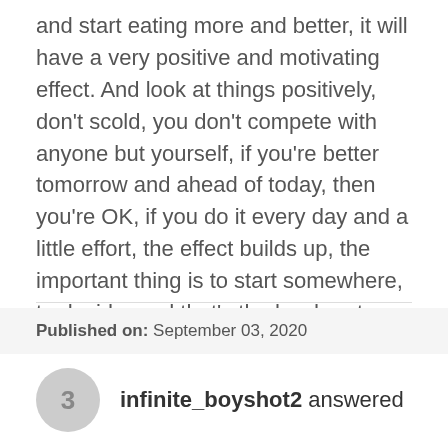and start eating more and better, it will have a very positive and motivating effect. And look at things positively, don't scold, you don't compete with anyone but yourself, if you're better tomorrow and ahead of today, then you're OK, if you do it every day and a little effort, the effect builds up, the important thing is to start somewhere, to decide, and that's the hard part.
Published on: September 03, 2020
3 infinite_boyshot2 answered